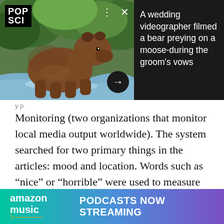[Figure (photo): A bear running through water/stream in a forest setting with green foliage background. POP SCI logo in top left corner. Three-dot menu and X close button in upper right of image. A dark circular arrow button at bottom right.]
A wedding videographer filmed a bear preying on a moose-during the groom's vows
Monitoring (two organizations that monitor local media output worldwide). The system searched for two primary things in the articles: mood and location. Words such as “nice” or “horrible” were used to measure mood, and geocoding converted mentions of places such as “Cairo” or “Pakistan” to plottable coordinates.
[Figure (photo): Amazon Music advertisement banner at the bottom: gradient background from teal/green to purple, showing 'amazon music' logo and text 'PODCASTS NOW STREAMING']